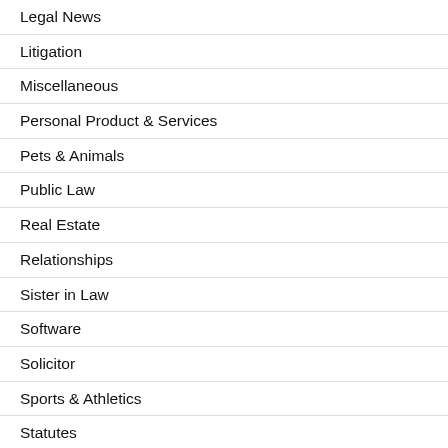Legal News
Litigation
Miscellaneous
Personal Product & Services
Pets & Animals
Public Law
Real Estate
Relationships
Sister in Law
Software
Solicitor
Sports & Athletics
Statutes
Statutory